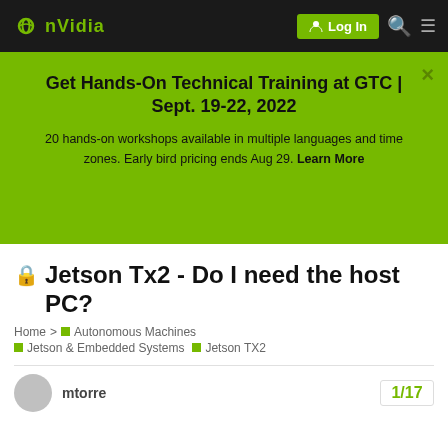NVIDIA | Log In
Get Hands-On Technical Training at GTC | Sept. 19-22, 2022
20 hands-on workshops available in multiple languages and time zones. Early bird pricing ends Aug 29. Learn More
🔒 Jetson Tx2 - Do I need the host PC?
Home > Autonomous Machines > Jetson & Embedded Systems > Jetson TX2
mtorre  1/17